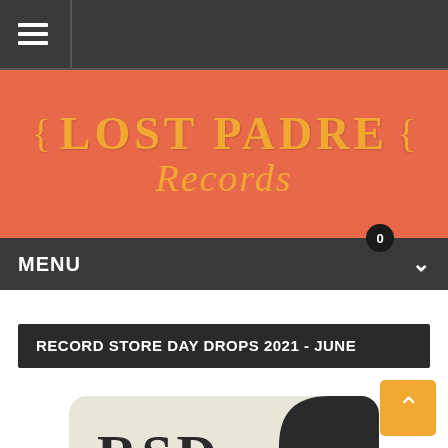[Figure (logo): Lost Padre Records logo with orange/salmon background, decorative curls and 'LOST PADRE Records' text in gold]
MENU
RECORD STORE DAY DROPS 2021 - JUNE
[Figure (photo): RSD Drops promotional image showing bold text 'RSD' and partial 'DROPS' on a cream/off-white background with a dark curved shape]